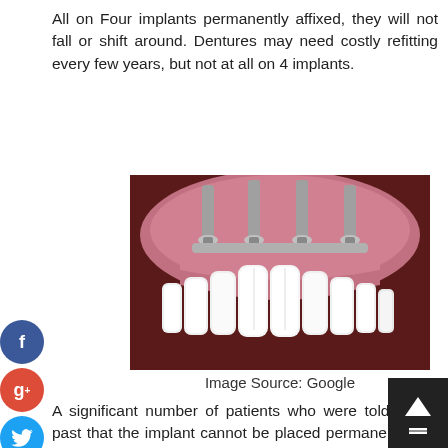All on Four implants permanently affixed, they will not fall or shift around. Dentures may need costly refitting every few years, but not at all on 4 implants.
[Figure (illustration): Medical illustration showing All-on-Four dental implants with four metal screws anchoring a full arch of white teeth against gum tissue, cross-section view.]
Image Source: Google
A significant number of patients who were told in the past that the implant cannot be placed permanently will now be in for a pleasant surprise. Missing teeth replaced by dental bridge fully supported by only four dental implants. This